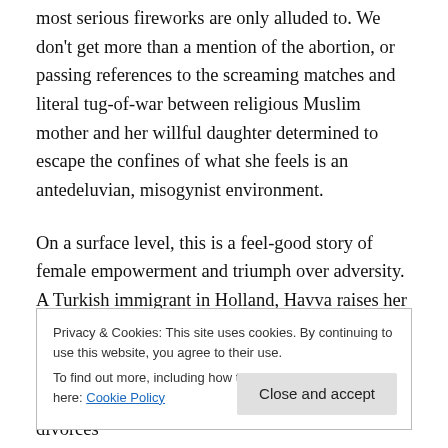most serious fireworks are only alluded to. We don't get more than a mention of the abortion, or passing references to the screaming matches and literal tug-of-war between religious Muslim mother and her willful daughter determined to escape the confines of what she feels is an antedeluvian, misogynist environment.
On a surface level, this is a feel-good story of female empowerment and triumph over adversity. A Turkish immigrant in Holland, Havva raises her Nazmiye with an iron fist in a strict religious household. Nazmiye's father
Privacy & Cookies: This site uses cookies. By continuing to use this website, you agree to their use.
To find out more, including how to control cookies, see here: Cookie Policy
Close and accept
foreigner, has a couple of daughters of her own, divorces